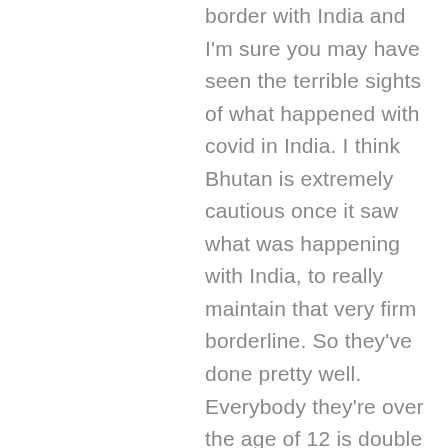border with India and I'm sure you may have seen the terrible sights of what happened with covid in India. I think Bhutan is extremely cautious once it saw what was happening with India, to really maintain that very firm borderline. So they've done pretty well. Everybody they're over the age of 12 is double vaccinated. I think the take up rate is like 99.9%, or whatever. And they've done they've done well. They have Thimphu the capital, but Thimphu is nothing compared to the size of Melbourne right. In terms of that close community transmission, a country